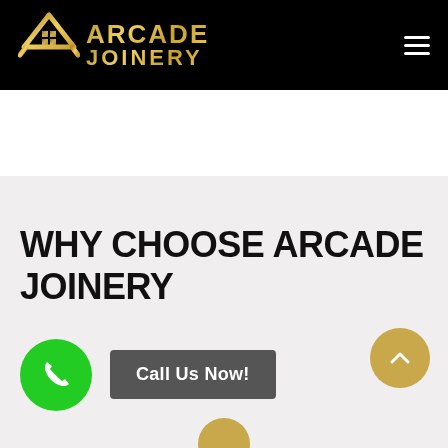[Figure (logo): Arcade Joinery logo with gold house/triangle icon and gold text 'ARCADE JOINERY' on black background]
WHY CHOOSE ARCADE JOINERY
Call Us Now!